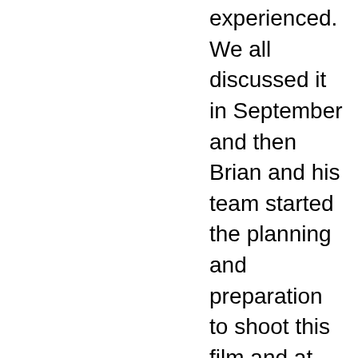experienced. We all discussed it in September and then Brian and his team started the planning and preparation to shoot this film and at the end of October it took place. It’s not just a “talking heads” type of documentary, but Brian hired actors to play the roles of my family and me and the film contains re-enactments of my traumatic brain injury, the two month period in a coma and then God intervening and rescuing me from death and eternity in hell. Brian, Mike Wildt and Jon Cipiti did an outstanding job in